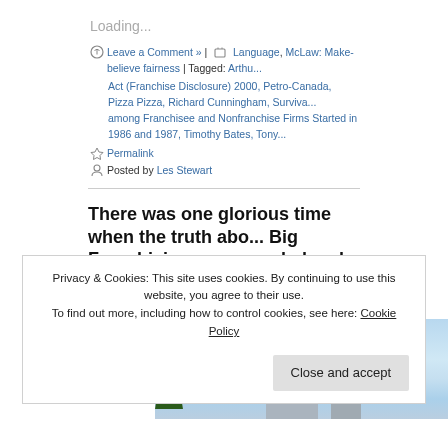Loading...
Leave a Comment » | Language, McLaw: Make-believe fairness | Tagged: Arthur... Act (Franchise Disclosure) 2000, Petro-Canada, Pizza Pizza, Richard Cunningham, Surviva... among Franchisee and Nonfranchise Firms Started in 1986 and 1987, Timothy Bates, Tony...
Permalink
Posted by Les Stewart
There was one glorious time when the truth abo... Big Franchising was revealed and recorded.
July 25, 2012
[Figure (photo): Exterior photo showing a building with a pointed roof against a blue sky with clouds and a tree on the left.]
Privacy & Cookies: This site uses cookies. By continuing to use this website, you agree to their use.
To find out more, including how to control cookies, see here: Cookie Policy
Close and accept